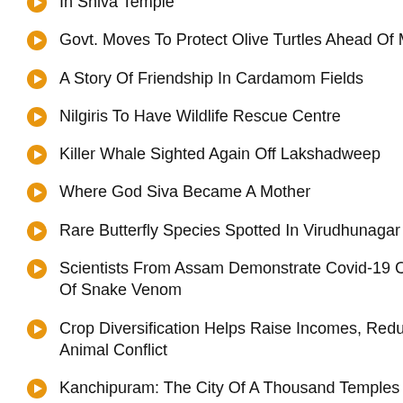In Shiva Temple
Govt. Moves To Protect Olive Turtles Ahead Of Mass Nesting
A Story Of Friendship In Cardamom Fields
Nilgiris To Have Wildlife Rescue Centre
Killer Whale Sighted Again Off Lakshadweep
Where God Siva Became A Mother
Rare Butterfly Species Spotted In Virudhunagar
Scientists From Assam Demonstrate Covid-19 Cure Potential Of Snake Venom
Crop Diversification Helps Raise Incomes, Reduce Man-Animal Conflict
Kanchipuram: The City Of A Thousand Temples
Kerala Revives The ‘Nalanda Of South’